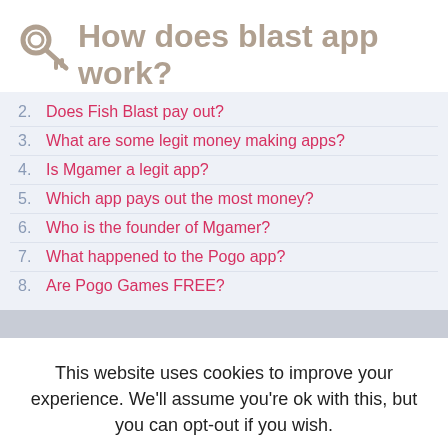How does blast app work?
2. Does Fish Blast pay out?
3. What are some legit money making apps?
4. Is Mgamer a legit app?
5. Which app pays out the most money?
6. Who is the founder of Mgamer?
7. What happened to the Pogo app?
8. Are Pogo Games FREE?
This website uses cookies to improve your experience. We'll assume you're ok with this, but you can opt-out if you wish.
Accept  Read More